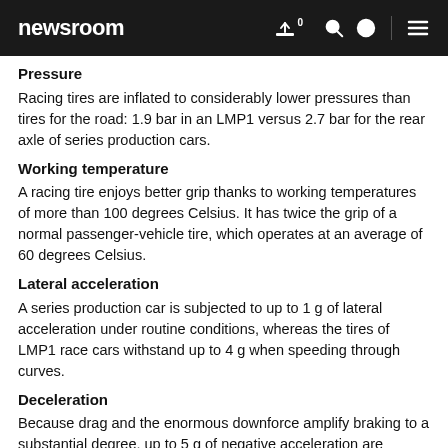newsroom
Pressure
Racing tires are inflated to considerably lower pressures than tires for the road: 1.9 bar in an LMP1 versus 2.7 bar for the rear axle of series production cars.
Working temperature
A racing tire enjoys better grip thanks to working temperatures of more than 100 degrees Celsius. It has twice the grip of a normal passenger-vehicle tire, which operates at an average of 60 degrees Celsius.
Lateral acceleration
A series production car is subjected to up to 1 g of lateral acceleration under routine conditions, whereas the tires of LMP1 race cars withstand up to 4 g when speeding through curves.
Deceleration
Because drag and the enormous downforce amplify braking to a substantial degree, up to 5 g of negative acceleration are applied to the tires. For standard-series tires, this figure is a good 1.3 g.
Mileage